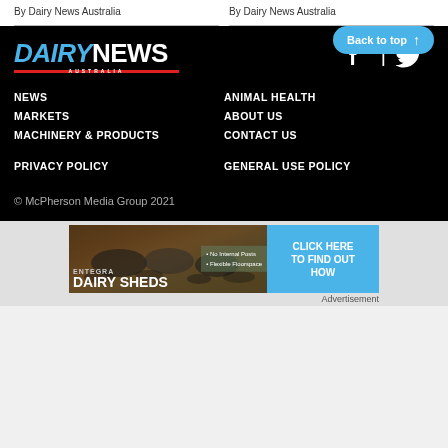By Dairy News Australia
By Dairy News Australia
Back to top ↑
[Figure (logo): Dairy News Australia logo with blue DAIRY text and white NEWS text, red Australia bar underneath, social media Facebook and Twitter icons to the right]
NEWS
MARKETS
MACHINERY & PRODUCTS
ANIMAL HEALTH
ABOUT US
CONTACT US
PRIVACY POLICY
GENERAL USE POLICY
© McPherson Media Group 2021
[Figure (photo): Advertisement banner for Entegra Dairy Sheds showing dairy cows in a shed with blue click here to find out how button]
Advertisement